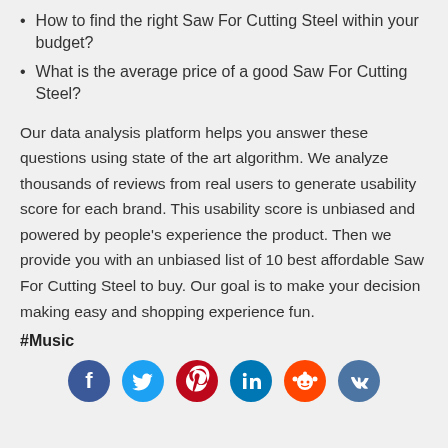How to find the right Saw For Cutting Steel within your budget?
What is the average price of a good Saw For Cutting Steel?
Our data analysis platform helps you answer these questions using state of the art algorithm. We analyze thousands of reviews from real users to generate usability score for each brand. This usability score is unbiased and powered by people's experience the product. Then we provide you with an unbiased list of 10 best affordable Saw For Cutting Steel to buy. Our goal is to make your decision making easy and shopping experience fun.
#Music
[Figure (infographic): Social media share icons: Facebook (dark blue), Twitter (light blue), Pinterest (red), LinkedIn (teal/blue), Reddit (orange-red), VK (dark teal)]